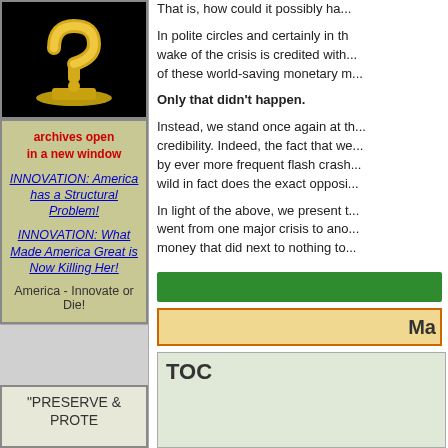[Figure (photo): Gold question mark trophy on black background]
archives open
in a new window
INNOVATION: America has a Structural Problem!
INNOVATION: What Made America Great is Now Killing Her!
America - Innovate or Die!
"PRESERVE & PROTECT"
Read the series...
[Figure (infographic): Tectonic Shift 2007-2013 diagram showing political and economic crisis arrows]
That is, how could it possibly ha...
In polite circles and certainly in th... wake of the crisis is credited with... of these world-saving monetary m...
Only that didn't happen.
Instead, we stand once again at th... credibility. Indeed, the fact that we... by ever more frequent flash crash... wild in fact does the exact opposi...
In light of the above, we present t... went from one major crisis to ano... money that did next to nothing to...
Ma...
TOC...